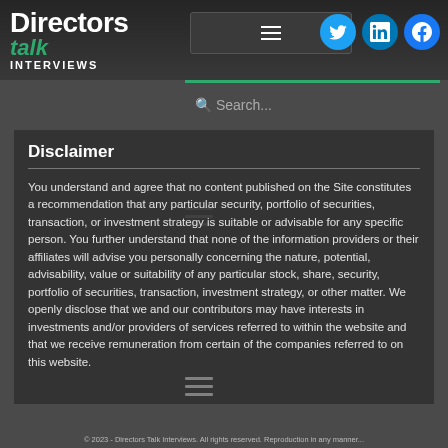Directors Talk Interviews
Disclaimer
You understand and agree that no content published on the Site constitutes a recommendation that any particular security, portfolio of securities, transaction, or investment strategy is suitable or advisable for any specific person. You further understand that none of the information providers or their affiliates will advise you personally concerning the nature, potential, advisability, value or suitability of any particular stock, share, security, portfolio of securities, transaction, investment strategy, or other matter. We openly disclose that we and our contributors may have interests in investments and/or providers of services referred to within the website and that we receive remuneration from certain of the companies referred to on this website.
© 2023 - Directors Talk Interviews. All rights reserved. Reproduction in any manner...